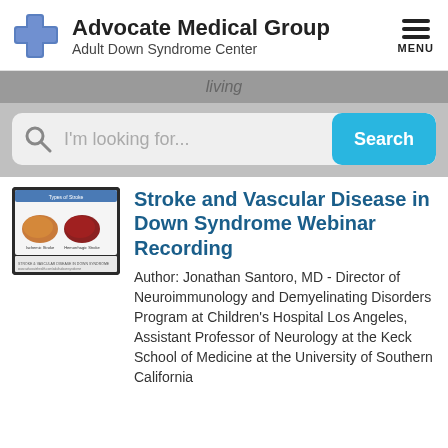Advocate Medical Group — Adult Down Syndrome Center
living
I'm looking for...
[Figure (screenshot): Thumbnail image of a webinar slide showing brain diagrams labeled 'Types of Stroke' with sections for 'Ischemic Stroke' and 'Hemorrhagic Stroke']
Stroke and Vascular Disease in Down Syndrome Webinar Recording
Author: Jonathan Santoro, MD - Director of Neuroimmunology and Demyelinating Disorders Program at Children's Hospital Los Angeles, Assistant Professor of Neurology at the Keck School of Medicine at the University of Southern California